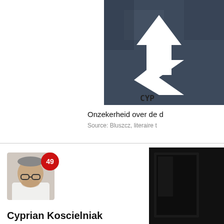[Figure (illustration): Abstract painting with dark blue-grey background featuring white arrow shapes pointing upward and to the right, with text 'CYP' at bottom]
Onzekerheid over de d
Source: Bluszcz, literaire t
[Figure (photo): Profile photo of a middle-aged man with glasses and white shirt, with a red badge showing '49']
[Figure (illustration): Abstract dark/black painting on the right side]
Cyprian Koscielniak
posted on June 5, 2012 at 22:29
Cyprian's website